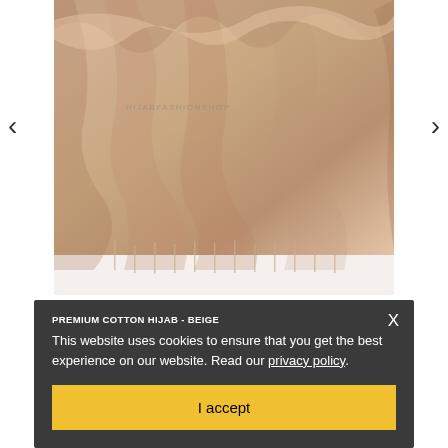[Figure (photo): Beige/tan premium cotton hijab fabric draped with fringed edges on white background, with watermark text HIJABFASHIONSHOP]
PREMIUM COTTON HIJAB - BEIGE
This website uses cookies to ensure that you get the best experience on our website. Read our privacy policy.
I accept